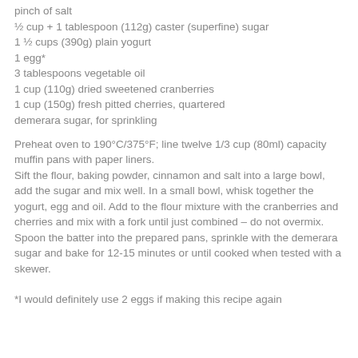pinch of salt
½ cup + 1 tablespoon (112g) caster (superfine) sugar
1 ½ cups (390g) plain yogurt
1 egg*
3 tablespoons vegetable oil
1 cup (110g) dried sweetened cranberries
1 cup (150g) fresh pitted cherries, quartered
demerara sugar, for sprinkling
Preheat oven to 190°C/375°F; line twelve 1/3 cup (80ml) capacity muffin pans with paper liners.
Sift the flour, baking powder, cinnamon and salt into a large bowl, add the sugar and mix well. In a small bowl, whisk together the yogurt, egg and oil. Add to the flour mixture with the cranberries and cherries and mix with a fork until just combined – do not overmix.
Spoon the batter into the prepared pans, sprinkle with the demerara sugar and bake for 12-15 minutes or until cooked when tested with a skewer.
*I would definitely use 2 eggs if making this recipe again